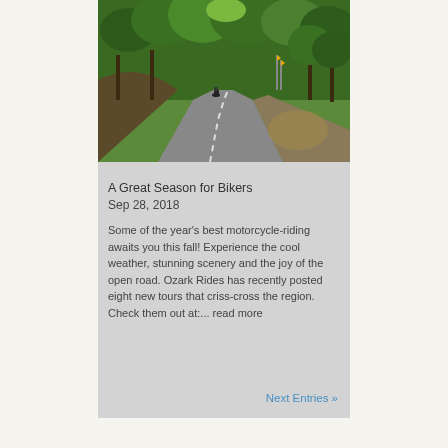[Figure (photo): A winding forested road with a motorcycle rider on it, green trees on both sides, yellow road signs visible, sunny day.]
A Great Season for Bikers
Sep 28, 2018
Some of the year's best motorcycle-riding awaits you this fall!  Experience the cool weather, stunning scenery and the joy of the open road.  Ozark Rides has recently posted eight new tours that criss-cross the region.  Check them out at:... read more
Next Entries »